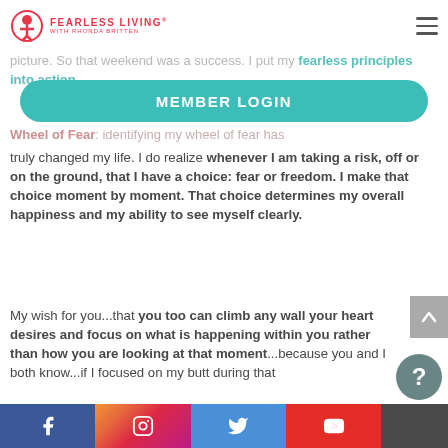Fearless Living with Rhonda Britten — navigation header with logo and hamburger menu
picture. So that weekend was a success. I put my fearless principles into action
[Figure (screenshot): Member Login teal button]
Wheel of Fear: identifying my wheel of fear has truly changed my life. I do realize whenever I am taking a risk, off or on the ground, that I have a choice: fear or freedom. I make that choice moment by moment. That choice determines my overall happiness and my ability to see myself clearly.
My wish for you...that you too can climb any wall your heart desires and focus on what is happening within you rather than how you are looking at that moment...because you and I both know...if I focused on my butt during that
Social media links: Facebook, Instagram, Twitter, YouTube